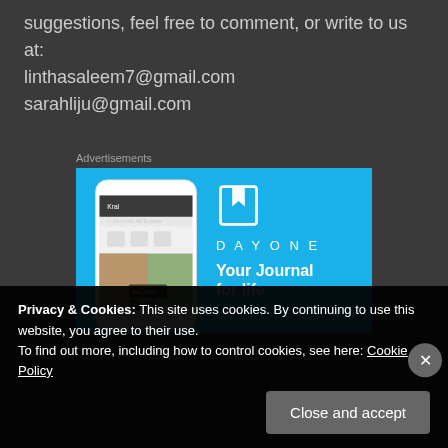suggestions, feel free to comment, or write to us at:
linthasaleem7@gmail.com
sarahliju@gmail.com
Advertisements
[Figure (screenshot): DayOne app advertisement with phone mockup showing journal app interface on a blue background. Text reads 'DAYONE' and 'Your Journal for life']
Privacy & Cookies: This site uses cookies. By continuing to use this website, you agree to their use.
To find out more, including how to control cookies, see here: Cookie Policy
Close and accept